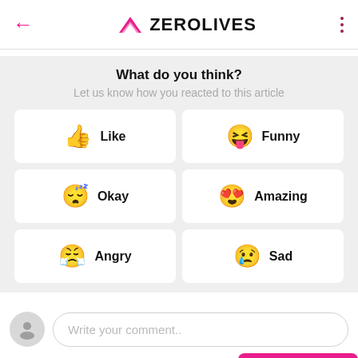ZEROLIVES
What do you think?
Let us know how you reacted to this article
👍 Like
😝 Funny
😴 Okay
😍 Amazing
😤 Angry
😢 Sad
Write your comment..
SUBMIT